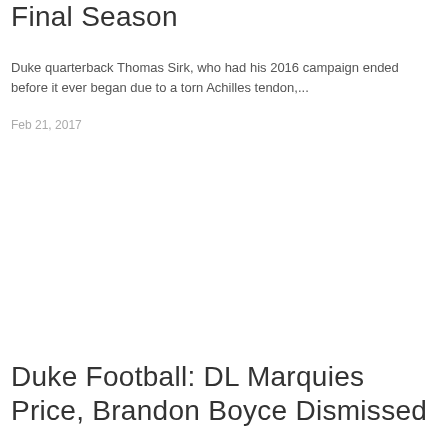Final Season
Duke quarterback Thomas Sirk, who had his 2016 campaign ended before it ever began due to a torn Achilles tendon,...
Feb 21, 2017
Duke Football: DL Marquies Price, Brandon Boyce Dismissed